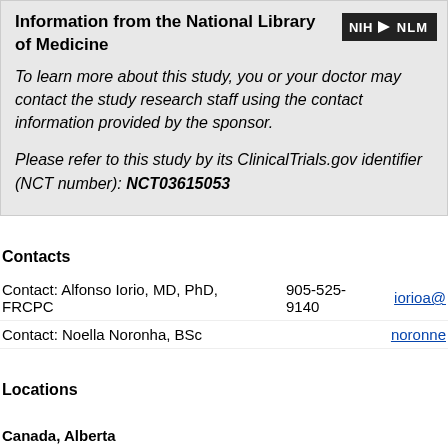Information from the National Library of Medicine
To learn more about this study, you or your doctor may contact the study research staff using the contact information provided by the sponsor.

Please refer to this study by its ClinicalTrials.gov identifier (NCT number): NCT03615053
Contacts
Contact: Alfonso Iorio, MD, PhD, FRCPC    905-525-9140    iorioa@
Contact: Noella Noronha, BSc    noronne
Locations
Canada, Alberta
University of Calgary    Recru